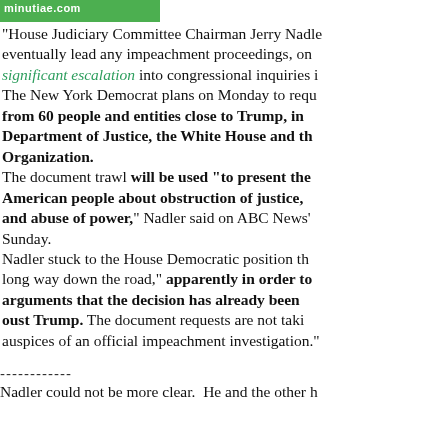minutiae.com
"House Judiciary Committee Chairman Jerry Nadler, who would eventually lead any impeachment proceedings, on significant escalation into congressional inquiries i... The New York Democrat plans on Monday to requ... from 60 people and entities close to Trump, in... Department of Justice, the White House and th... Organization. The document trawl will be used "to present the... American people about obstruction of justice, and abuse of power," Nadler said on ABC News'... Sunday. Nadler stuck to the House Democratic position th... long way down the road," apparently in order to... arguments that the decision has already been... oust Trump. The document requests are not taki... auspices of an official impeachment investigation."
------------
Nadler could not be more clear. He and the other h...